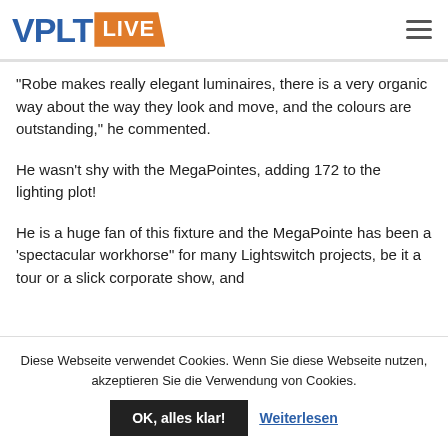VPLT LIVE
“Robe makes really elegant luminaires, there is a very organic way about the way they look and move, and the colours are outstanding,” he commented.
He wasn’t shy with the MegaPointes, adding 172 to the lighting plot!
He is a huge fan of this fixture and the MegaPointe has been a ‘spectacular workhorse” for many Lightswitch projects, be it a tour or a slick corporate show, and
Diese Webseite verwendet Cookies. Wenn Sie diese Webseite nutzen, akzeptieren Sie die Verwendung von Cookies.
OK, alles klar! Weiterlesen